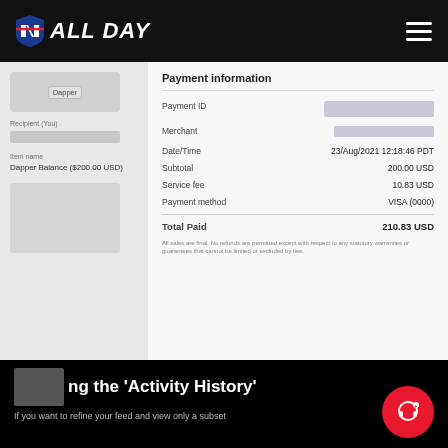NFL ALL DAY
Payment information
| Field | Value |
| --- | --- |
| Payment ID | [redacted] |
| Merchant | [redacted] |
| Date/Time | 23/Aug/2021 12:18:46 PDT |
| Subtotal | 200.00 USD |
| Service fee | 10.83 USD |
| Payment method | VISA (0000) |
| Total Paid | 210.83 USD |
All sales are final. No refunds are permitted except with respect to any statutory warranties or guarantees that cannot be limited or excluded by law.
ing the 'Activity History'
If you want to refine your feed and view only a subset